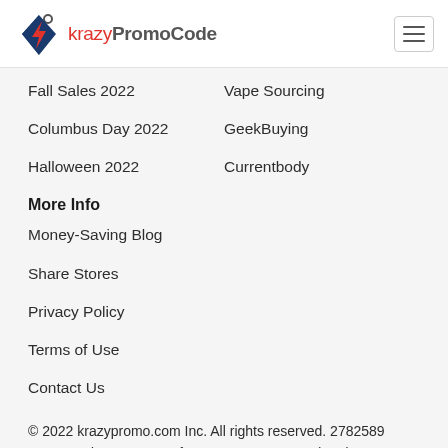krazyPromoCode
Fall Sales 2022
Vape Sourcing
Columbus Day 2022
GeekBuying
Halloween 2022
Currentbody
More Info
Money-Saving Blog
Share Stores
Privacy Policy
Terms of Use
Contact Us
© 2022 krazypromo.com Inc. All rights reserved. 2782589 promo codes &coupons for 107901 stores. Updated on Aug 24, 2022.